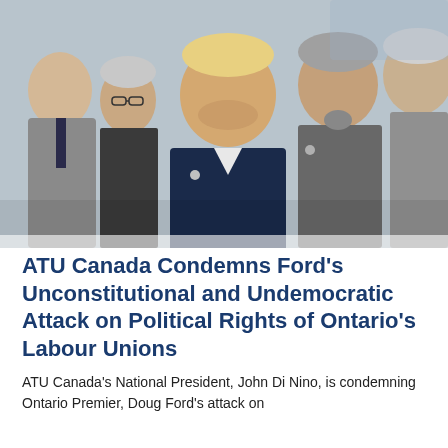[Figure (photo): A group of five people in a close huddle, looking down together. The central figure is a heavyset man with blond hair wearing a dark blue suit. To his left is an older man in a grey suit and a woman with glasses. To his right are two men in grey suits. Background shows a light-coloured wall.]
ATU Canada Condemns Ford's Unconstitutional and Undemocratic Attack on Political Rights of Ontario's Labour Unions
ATU Canada's National President, John Di Nino, is condemning Ontario Premier, Doug Ford's attack on